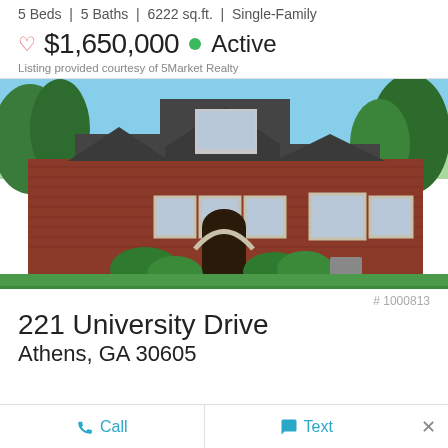5 Beds | 5 Baths | 6222 sq.ft. | Single-Family
$1,650,000 • Active
Listing provided courtesy of 5Market Realty
[Figure (photo): Exterior photo of a large red brick single-family home with arched entryway, multiple gabled dormers, white trim windows, and lush green landscaping with stepping stone path leading to front door.]
# 1000813
221 University Drive
Athens, GA 30605
Call
Text